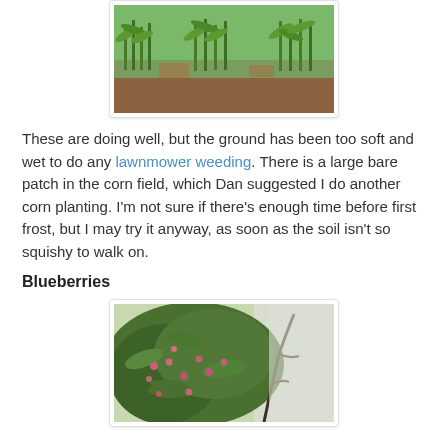[Figure (photo): Corn field with young green corn plants growing in rows on brown soil]
These are doing well, but the ground has been too soft and wet to do any lawnmower weeding. There is a large bare patch in the corn field, which Dan suggested I do another corn planting. I'm not sure if there's enough time before first frost, but I may try it anyway, as soon as the soil isn't so squishy to walk on.
Blueberries
[Figure (photo): Blueberry bushes with green and pink-red berries and lush foliage]